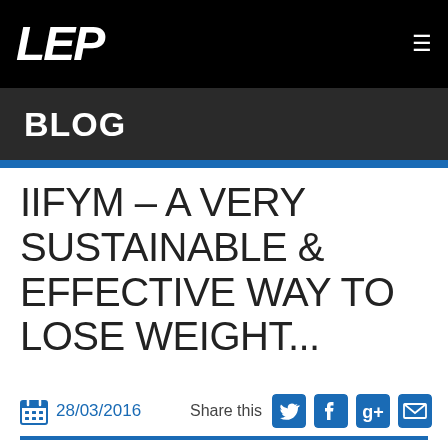LEP
BLOG
IIFYM – A VERY SUSTAINABLE & EFFECTIVE WAY TO LOSE WEIGHT…
28/03/2016
Share this